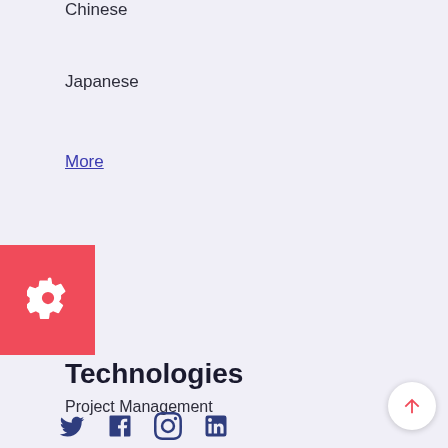Chinese
Japanese
More
[Figure (other): Red square icon button with white gear/settings cog symbol]
Technologies
Project Management
Website Localization
Content Authoring & Management
Integration Tools
Secure File Hosting
PRIVACY STATEMENT
[Figure (other): Social media icons: Twitter, Facebook, Instagram, LinkedIn in dark blue]